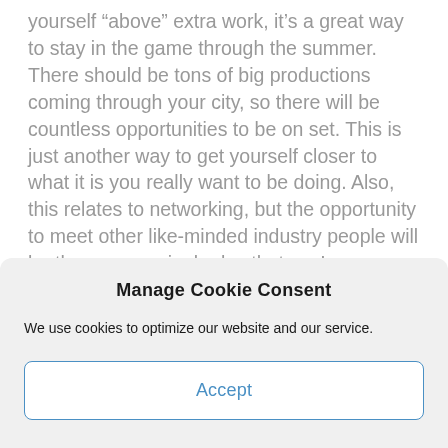yourself “above” extra work, it’s a great way to stay in the game through the summer. There should be tons of big productions coming through your city, so there will be countless opportunities to be on set. This is just another way to get yourself closer to what it is you really want to be doing. Also, this relates to networking, but the opportunity to meet other like-minded industry people will be there every single day that you’re on a set. Don’t count it out, but rather look at all the benefits it will bring you, as there are many!
Manage Cookie Consent
We use cookies to optimize our website and our service.
Accept